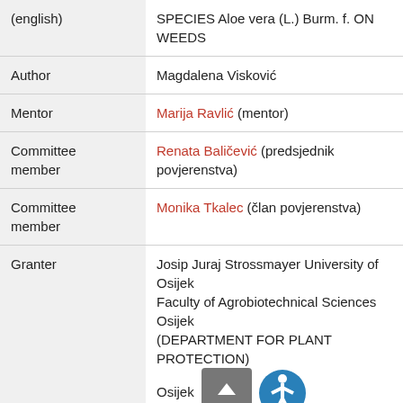| Field | Value |
| --- | --- |
| (english) | SPECIES Aloe vera (L.) Burm. f. ON WEEDS |
| Author | Magdalena Visković |
| Mentor | Marija Ravlić (mentor) |
| Committee member | Renata Baličević (predsjednik povjerenstva) |
| Committee member | Monika Tkalec (član povjerenstva) |
| Granter | Josip Juraj Strossmayer University of Osijek
Faculty of Agrobiotechnical Sciences Osijek
(DEPARTMENT FOR PLANT PROTECTION)
Osijek |
| Defense | 2016-09-30, Croatia |